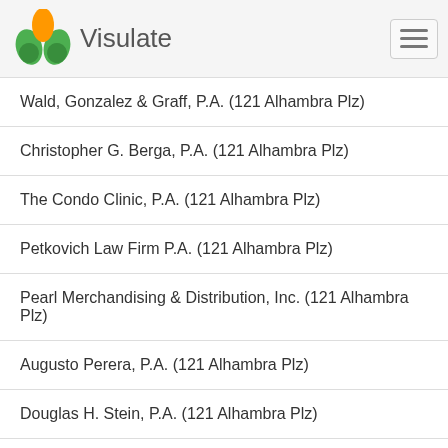Visulate
Wald, Gonzalez & Graff, P.A. (121 Alhambra Plz)
Christopher G. Berga, P.A. (121 Alhambra Plz)
The Condo Clinic, P.A. (121 Alhambra Plz)
Petkovich Law Firm P.A. (121 Alhambra Plz)
Pearl Merchandising & Distribution, Inc. (121 Alhambra Plz)
Augusto Perera, P.A. (121 Alhambra Plz)
Douglas H. Stein, P.A. (121 Alhambra Plz)
Salvatore A. Polidoro, P.A. (121 Alhambra Plz)
Susy Ribero-Ayala, P.A. (121 Alhambra Plz)
Aaa Keys Dream Investment LLC. (121 Alhambra Plz)